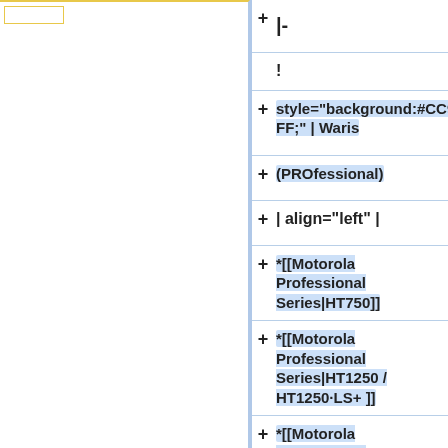|-
!
style="background:#CC99FF;" | Waris
(PROfessional)
| align="left" |
*[[Motorola Professional Series|HT750]]
*[[Motorola Professional Series|HT1250 / HT1250·LS+ ]]
*[[Motorola Professional Series|HT1550-XLS]]
*[[Motorola Professional Series|MTX850]]